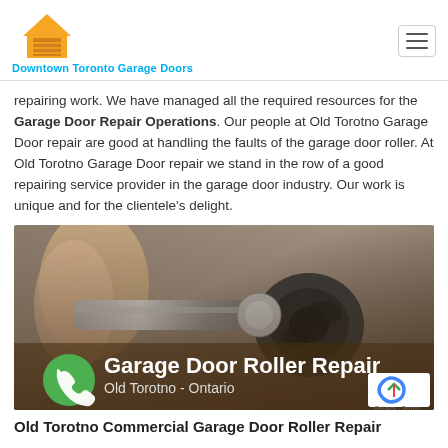Downtown Toronto Garage Doors
repairing work. We have managed all the required resources for the Garage Door Repair Operations. Our people at Old Torotno Garage Door repair are good at handling the faults of the garage door roller. At Old Torotno Garage Door repair we stand in the row of a good repairing service provider in the garage door industry. Our work is unique and for the clientele's delight.
[Figure (photo): Close-up photo of a worn garage door roller being held by a hand, with overlay text 'Garage Door Roller Repair / Old Torotno - Ontario' and a green phone button icon]
Old Torotno Commercial Garage Door Roller Repair